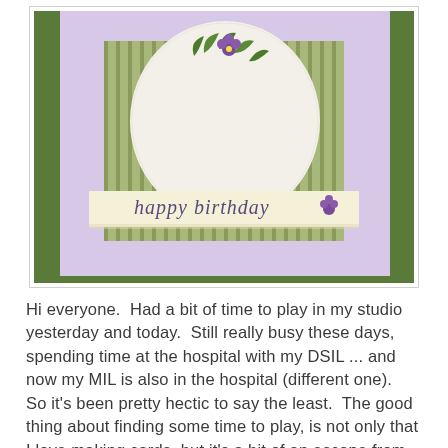[Figure (photo): A handmade birthday card with a light purple/lavender background, green striped cardstock inset, a white textured oval shape with green leaf and purple flower embellishments, and a banner reading 'happy birthday' in cursive with a small purple flower accent, displayed on a green background.]
Hi everyone.  Had a bit of time to play in my studio yesterday and today.  Still really busy these days, spending time at the hospital with my DSIL ... and now my MIL is also in the hospital (different one).  So it's been pretty hectic to say the least.  The good thing about finding some time to play, is not only that I love making cards, but it's a bit of an escape from all the worries of late.  When I'm making a card, I am concentrating so hard on the design, etc., that I forget about other things ... especially the time, so my hubby does have to come in a bring me back to reality once in a while or he'd